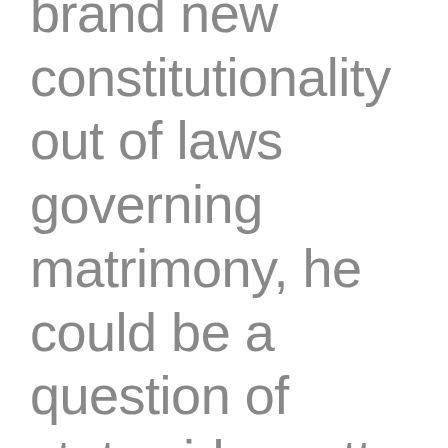brand new constitutionality out of laws governing matrimony, he could be a question of statewide matter therefore the condition got zero